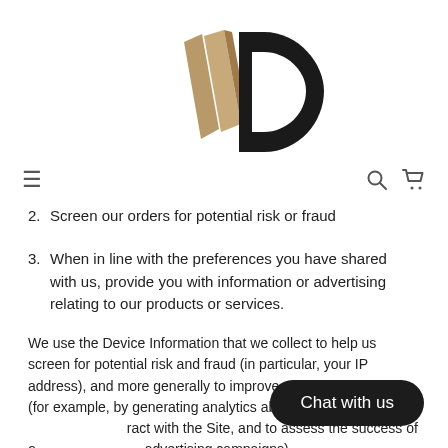[Figure (logo): Company logo with gold/tan angular shapes on left and black D-like circular shape on right]
[Figure (screenshot): Navigation bar with hamburger menu on left, search and cart icons on right]
2. Screen our orders for potential risk or fraud
3. When in line with the preferences you have shared with us, provide you with information or advertising relating to our products or services.
We use the Device Information that we collect to help us screen for potential risk and fraud (in particular, your IP address), and more generally to improve and optimize our Site (for example, by generating analytics about how our customers browse and interact with the Site, and to assess the success of our marketing and advertising campaigns).
[Figure (other): Chat with us button overlay]